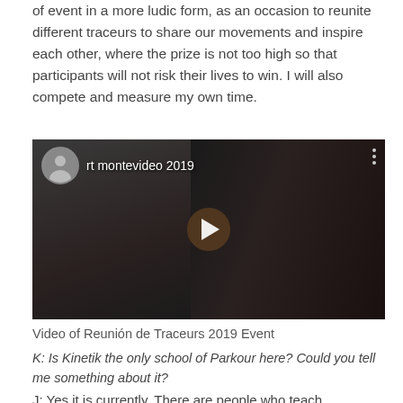of event in a more ludic form, as an occasion to reunite different traceurs to share our movements and inspire each other, where the prize is not too high so that participants will not risk their lives to win. I will also compete and measure my own time.
[Figure (screenshot): YouTube-style embedded video thumbnail showing two young men outdoors, one in a blue cap on the left, one facing camera in the center. Video title reads 'rt montevideo 2019'. A play button is visible in the center of the video.]
Video of Reunión de Traceurs 2019 Event
K: Is Kinetik the only school of Parkour here? Could you tell me something about it?
J: Yes it is currently. There are people who teach individually but